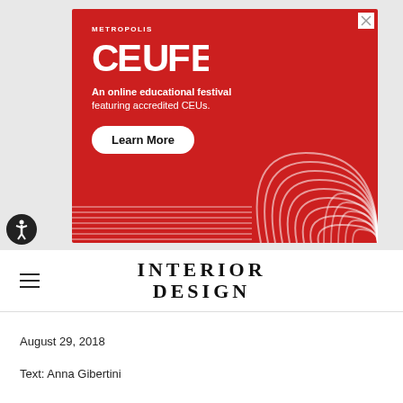[Figure (illustration): Advertisement banner for Metropolis CEU FEST — an online educational festival featuring accredited CEUs. Red background with white text, decorative arch pattern bottom-right, horizontal lines bottom-left, and a 'Learn More' white pill button.]
INTERIOR DESIGN
August 29, 2018
Text: Anna Gibertini